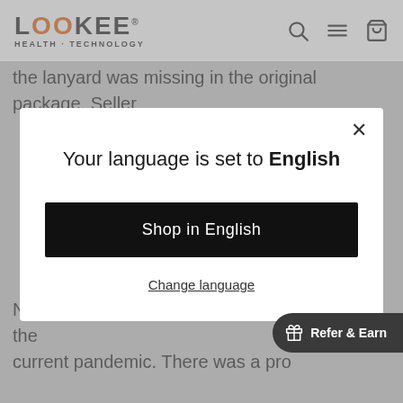LOOKEE HEALTH · TECHNOLOGY
the lanyard was missing in the original package. Seller
[Figure (screenshot): Modal dialog popup with language selection. Title reads 'Your language is set to English'. A black button says 'Shop in English'. A text link says 'Change language'. An X close button is in the top right corner.]
Nice piece of mind to have this on hand during the current pandemic. There was a pro ccurate results at first. I contac on their support page and had a response within a
Refer & Earn